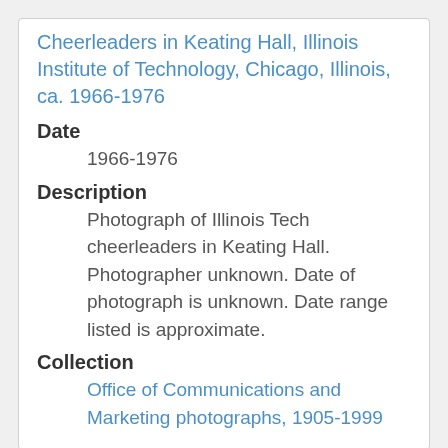Cheerleaders in Keating Hall, Illinois Institute of Technology, Chicago, Illinois, ca. 1966-1976
Date
1966-1976
Description
Photograph of Illinois Tech cheerleaders in Keating Hall. Photographer unknown. Date of photograph is unknown. Date range listed is approximate.
Collection
Office of Communications and Marketing photographs, 1905-1999
[Figure (photo): Black and white photograph partially visible at bottom of page]